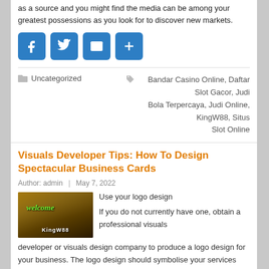as a source and you might find the media can be among your greatest possessions as you look for to discover new markets.
[Figure (infographic): Social share buttons: Facebook, Twitter, Email, Share (blue rounded square icons)]
Uncategorized
Bandar Casino Online, Daftar Slot Gacor, Judi Bola Terpercaya, Judi Online, KingW88, Situs Slot Online
Visuals Developer Tips: How To Design Spectacular Business Cards
Author: admin  |  May 7, 2022
[Figure (photo): Welcome KingW88 casino banner with woman and golden coins]
Use your logo design
If you do not currently have one, obtain a professional visuals developer or visuals design company to produce a logo design for your business. The logo design should symbolise your services and products, and it should be scalable for use on